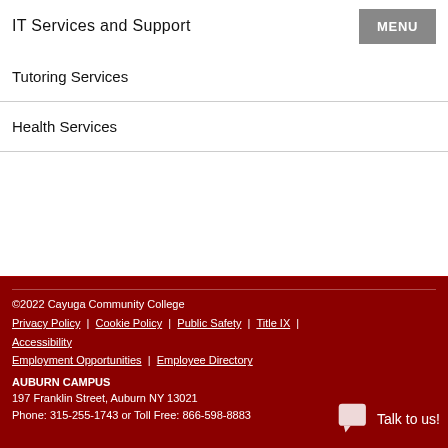IT Services and Support | MENU
Tutoring Services
Health Services
© 2022 Cayuga Community College | Privacy Policy | Cookie Policy | Public Safety | Title IX | Accessibility | Employment Opportunities | Employee Directory | AUBURN CAMPUS | 197 Franklin Street, Auburn NY 13021 | Phone: 315-255-1743 or Toll Free: 866-598-8883 | Talk to us!